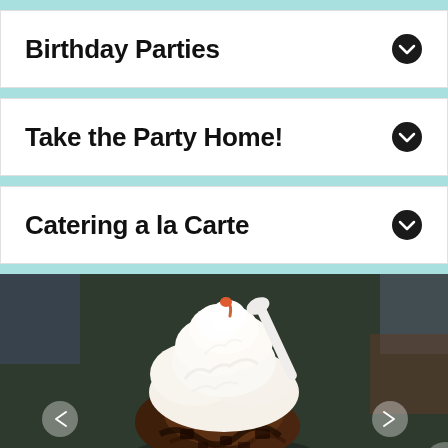Birthday Parties
Take the Party Home!
Catering a la Carte
[Figure (photo): Close-up photo of an ice cream sundae with large mounds of whipped cream on top of chocolate ice cream, with a cherry or candy piece, served in a glass dish. Navigation arrows visible on left and right sides.]